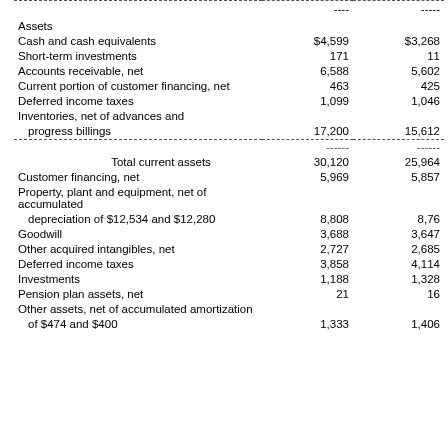|  | Col1 | Col2 |
| --- | --- | --- |
| Assets |  |  |
| Cash and cash equivalents | $4,599 | $3,268 |
| Short-term investments | 171 | 11 |
| Accounts receivable, net | 6,588 | 5,602 |
| Current portion of customer financing, net | 463 | 425 |
| Deferred income taxes | 1,099 | 1,046 |
| Inventories, net of advances and progress billings | 17,200 | 15,612 |
| Total current assets | 30,120 | 25,964 |
| Customer financing, net | 5,969 | 5,857 |
| Property, plant and equipment, net of accumulated depreciation of $12,534 and $12,280 | 8,808 | 8,76 |
| Goodwill | 3,688 | 3,647 |
| Other acquired intangibles, net | 2,727 | 2,685 |
| Deferred income taxes | 3,858 | 4,114 |
| Investments | 1,188 | 1,328 |
| Pension plan assets, net | 21 | 16 |
| Other assets, net of accumulated amortization of $474 and $400 | 1,333 | 1,406 |